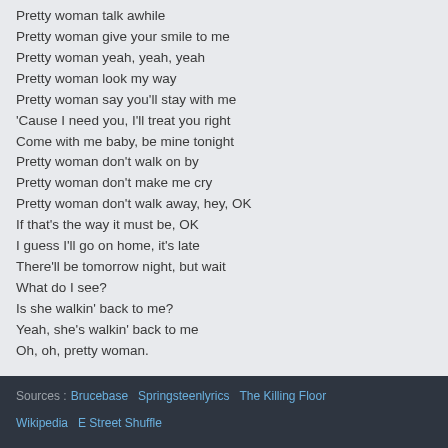Pretty woman talk awhile
Pretty woman give your smile to me
Pretty woman yeah, yeah, yeah
Pretty woman look my way
Pretty woman say you'll stay with me
'Cause I need you, I'll treat you right
Come with me baby, be mine tonight
Pretty woman don't walk on by
Pretty woman don't make me cry
Pretty woman don't walk away, hey, OK
If that's the way it must be, OK
I guess I'll go on home, it's late
There'll be tomorrow night, but wait
What do I see?
Is she walkin' back to me?
Yeah, she's walkin' back to me
Oh, oh, pretty woman.
Sources : Brucebase   Springsteenlyrics   The Killing Floor   Wikipedia   E Street Shuffle